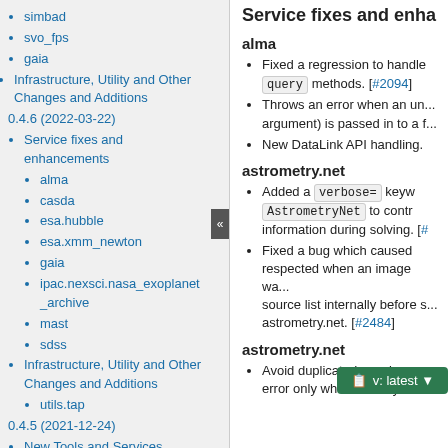simbad
svo_fps
gaia
Infrastructure, Utility and Other Changes and Additions
0.4.6 (2022-03-22)
Service fixes and enhancements
alma
casda
esa.hubble
esa.xmm_newton
gaia
ipac.nexsci.nasa_exoplanet_archive
mast
sdss
Infrastructure, Utility and Other Changes and Additions
utils.tap
0.4.5 (2021-12-24)
New Tools and Services
esa.jwst
Service fixes and enhancements
Service fixes and enhancements
alma
Fixed a regression to handle query methods. [#2094]
Throws an error when an un... argument) is passed in to a f...
New DataLink API handling.
astrometry.net
Added a verbose= keyword AstrometryNet to contr... information during solving. [#...
Fixed a bug which caused ... respected when an image wa... source list internally before s... astrometry.net. [#2484]
astrometry.net
Avoid duplicated warnings a... error only when API key is n...